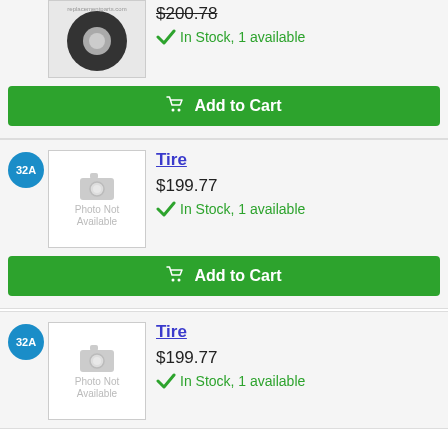[Figure (photo): Tire product image (partial, top of page) - actual tire photo]
$200.78
In Stock, 1 available
Add to Cart
32A
[Figure (photo): Photo Not Available placeholder image for Tire]
Tire
$199.77
In Stock, 1 available
Add to Cart
32A
[Figure (photo): Photo Not Available placeholder image for Tire]
Tire
$199.77
In Stock, 1 available